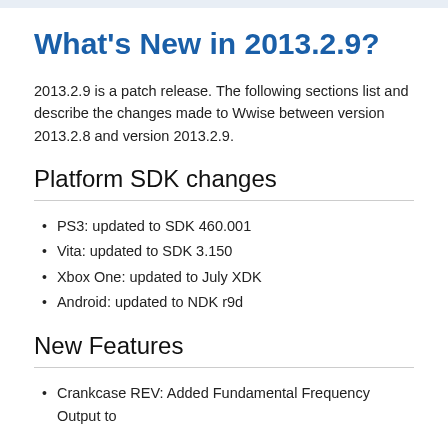What's New in 2013.2.9?
2013.2.9 is a patch release. The following sections list and describe the changes made to Wwise between version 2013.2.8 and version 2013.2.9.
Platform SDK changes
PS3: updated to SDK 460.001
Vita: updated to SDK 3.150
Xbox One: updated to July XDK
Android: updated to NDK r9d
New Features
Crankcase REV: Added Fundamental Frequency Output to